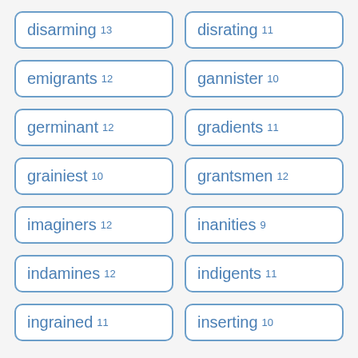disarming 13
disrating 11
emigrants 12
gannister 10
germinant 12
gradients 11
grainiest 10
grantsmen 12
imaginers 12
inanities 9
indamines 12
indigents 11
ingrained 11
inserting 10